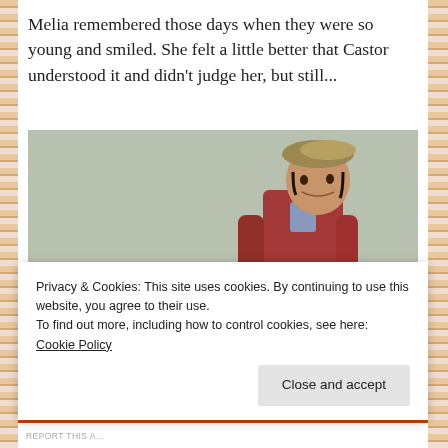Melia remembered those days when they were so young and smiled. She felt a little better that Castor understood it and didn't judge her, but still...
[Figure (screenshot): Screenshot of a Sims-style 3D rendered scene showing two characters: a male character in a dark red hoodie wearing a tan beret hat facing right in profile, and another character partially visible at the bottom left. Background is a muted green-grey wall.]
Privacy & Cookies: This site uses cookies. By continuing to use this website, you agree to their use.
To find out more, including how to control cookies, see here: Cookie Policy
Close and accept